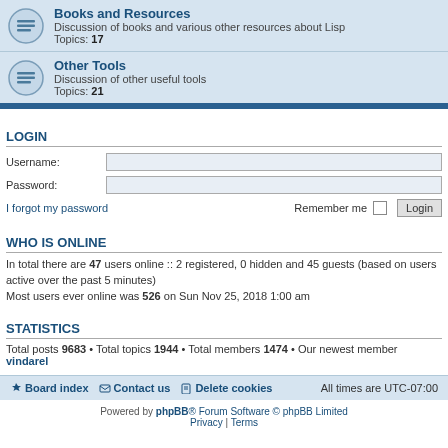Books and Resources
Discussion of books and various other resources about Lisp
Topics: 17
Other Tools
Discussion of other useful tools
Topics: 21
LOGIN
Username:
Password:
I forgot my password
Remember me  Login
WHO IS ONLINE
In total there are 47 users online :: 2 registered, 0 hidden and 45 guests (based on users active over the past 5 minutes)
Most users ever online was 526 on Sun Nov 25, 2018 1:00 am
STATISTICS
Total posts 9683 • Total topics 1944 • Total members 1474 • Our newest member vindarel
Board index   Contact us   Delete cookies   All times are UTC-07:00
Powered by phpBB® Forum Software © phpBB Limited
Privacy | Terms